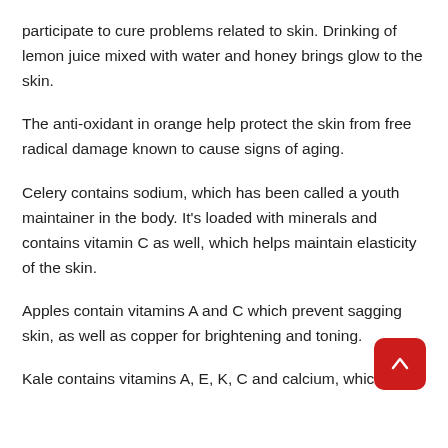participate to cure problems related to skin. Drinking of lemon juice mixed with water and honey brings glow to the skin.
The anti-oxidant in orange help protect the skin from free radical damage known to cause signs of aging.
Celery contains sodium, which has been called a youth maintainer in the body. It's loaded with minerals and contains vitamin C as well, which helps maintain elasticity of the skin.
Apples contain vitamins A and C which prevent sagging skin, as well as copper for brightening and toning.
Kale contains vitamins A, E, K, C and calcium, which